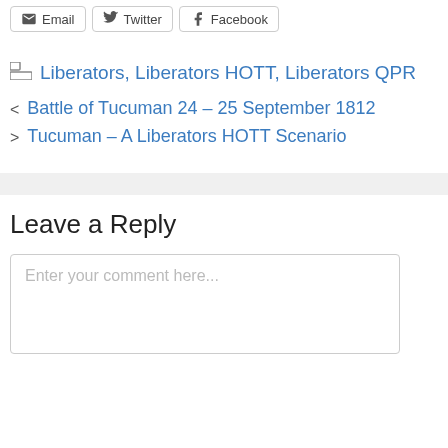Email
Twitter
Facebook
Liberators, Liberators HOTT, Liberators QPR
< Battle of Tucuman 24 – 25 September 1812
> Tucuman – A Liberators HOTT Scenario
Leave a Reply
Enter your comment here...